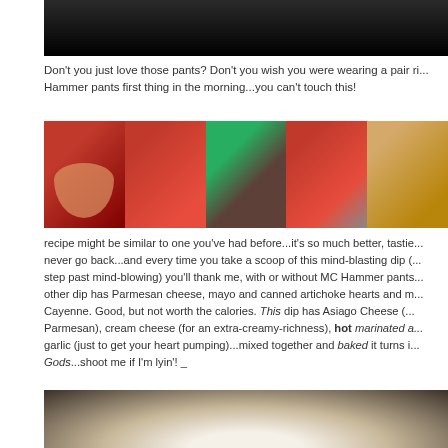[Figure (photo): Top portion of a photo, dark background, appears to be clothing or fabric]
Don't you just love those pants?  Don't you wish you were wearing a pair ri... Hammer pants first thing in the morning...you can't touch this!
[Figure (photo): Strip of food preparation photos showing red bowls with dip ingredients, a green cutting board, and a chip]
recipe might be similar to one you've had before...it's so much better, tastie... never go back...and every time you take a scoop of this mind-blasting dip (... step past mind-blowing) you'll thank me, with or without MC Hammer pants... other dip has Parmesan cheese, mayo and canned artichoke hearts and m... Cayenne.  Good, but not worth the calories.  This dip has Asiago Cheese (... Parmesan), cream cheese (for an extra-creamy-richness), hot marinated a... garlic (just to get your heart pumping)...mixed together and baked it turns i... Gods...shoot me if I'm lyin'!
[Figure (photo): Bottom photo showing a baked dip dish on a white plate on a dark surface]